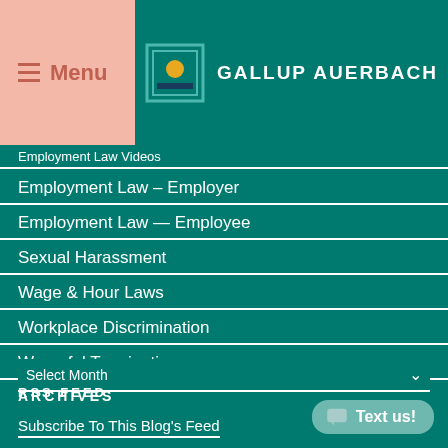Menu | GALLUP AUERBACH
Employment Law – Employer
Employment Law — Employee
Sexual Harassment
Wage & Hour Laws
Workplace Discrimination
Wrongful Termination
ARCHIVES
Select Month
RSS FEED
Subscribe To This Blog's Feed